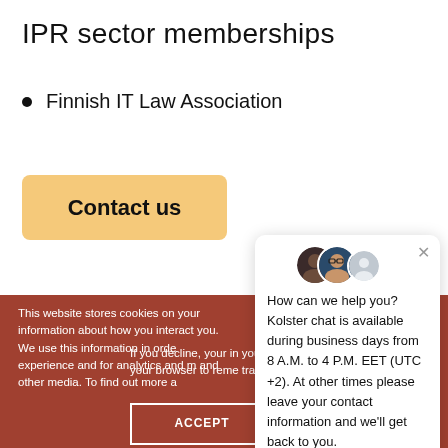IPR sector memberships
Finnish IT Law Association
Contact us
This website stores cookies on your information about how you interact you. We use this information in orde experience and for analytics and m and other media. To find out more a If you decline, your in you visit this website. your browser to reme tracked.
ACCEPT
DECLINE
[Figure (screenshot): Chat popup with avatars showing message: How can we help you? Kolster chat is available during business days from 8 A.M. to 4 P.M. EET (UTC +2). At other times please leave your contact information and we'll get back to you.]